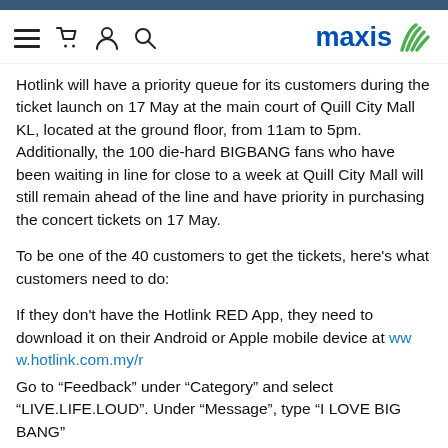maxis
Hotlink will have a priority queue for its customers during the ticket launch on 17 May at the main court of Quill City Mall KL, located at the ground floor, from 11am to 5pm. Additionally, the 100 die-hard BIGBANG fans who have been waiting in line for close to a week at Quill City Mall will still remain ahead of the line and have priority in purchasing the concert tickets on 17 May.
To be one of the 40 customers to get the tickets, here's what customers need to do:
If they don't have the Hotlink RED App, they need to download it on their Android or Apple mobile device at www.hotlink.com.my/r
Go to “Feedback” under “Category” and select “LIVE.LIFE.LOUD”. Under “Message”, type “I LOVE BIG BANG”
The first 40 customers to register will be chosen for the